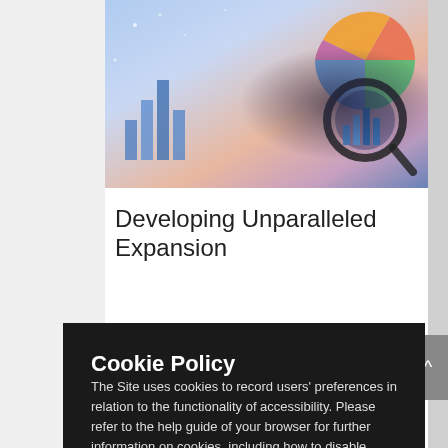[Figure (photo): Hero banner image showing financial charts, pie charts, bar graphs, and a magnifying glass on a blue/purple gradient background]
Developing Unparalleled Expansion
Cookie Policy
The Site uses cookies to record users' preferences in relation to the functionality of accessibility. Please refer to the help guide of your browser for further information on cookies, including how to disable them. Review our Privacy & Cookie Notice.
Understood
surgical procedures have become increasingly common, and...